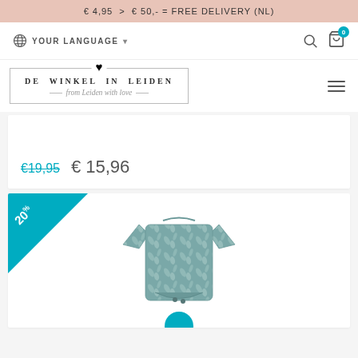€ 4,95  >  € 50,- = FREE DELIVERY (NL)
[Figure (screenshot): Navigation bar with language selector, search icon, and cart icon showing 0 items]
[Figure (logo): De Winkel In Leiden logo with heart, bordered box, and italic tagline 'from Leiden with love']
€19,95  € 15,96
[Figure (photo): Baby onesie/bodysuit with botanical/palm leaf print in teal/grey color, shown with 20% discount badge in corner]